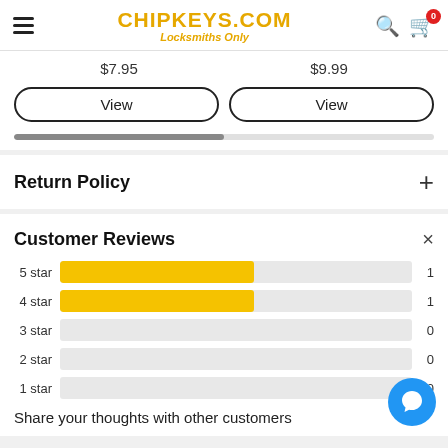CHIPKEYS.COM Locksmiths Only
$7.95   $9.99
View   View
Return Policy
Customer Reviews
[Figure (bar-chart): Customer Reviews star distribution]
Share your thoughts with other customers